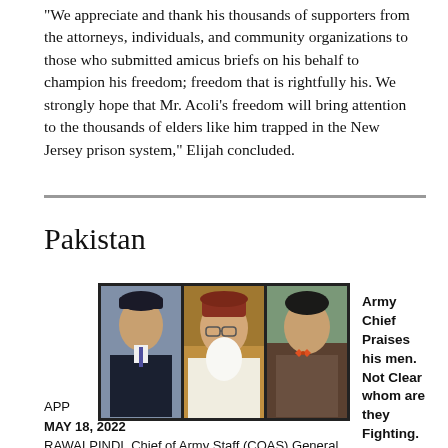"We appreciate and thank his thousands of supporters from the attorneys, individuals, and community organizations to those who submitted amicus briefs on his behalf to champion his freedom; freedom that is rightfully his. We strongly hope that Mr. Acoli's freedom will bring attention to the thousands of elders like him trapped in the New Jersey prison system," Elijah concluded.
Pakistan
[Figure (photo): Three painted portrait photographs of Pakistani historical figures side by side, framed with a dark border.]
Army Chief Praises his men. Not Clear whom are they Fighting.
APP
MAY 18, 2022
RAWALPINDI, Chief of Army Staff (COAS) General...